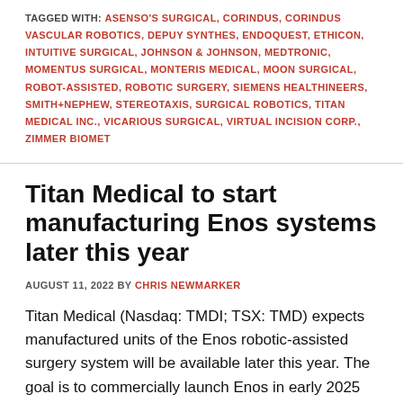TAGGED WITH: ASENSO'S SURGICAL, CORINDUS, CORINDUS VASCULAR ROBOTICS, DEPUY SYNTHES, ENDOQUEST, ETHICON, INTUITIVE SURGICAL, JOHNSON & JOHNSON, MEDTRONIC, MOMENTUS SURGICAL, MONTERIS MEDICAL, MOON SURGICAL, ROBOT-ASSISTED, ROBOTIC SURGERY, SIEMENS HEALTHINEERS, SMITH+NEPHEW, STEREOTAXIS, SURGICAL ROBOTICS, TITAN MEDICAL INC., VICARIOUS SURGICAL, VIRTUAL INCISION CORP., ZIMMER BIOMET
Titan Medical to start manufacturing Enos systems later this year
AUGUST 11, 2022 BY CHRIS NEWMARKER
Titan Medical (Nasdaq: TMDI; TSX: TMD) expects manufactured units of the Enos robotic-assisted surgery system will be available later this year. The goal is to commercially launch Enos in early 2025 after securing a De Novo market authorization from